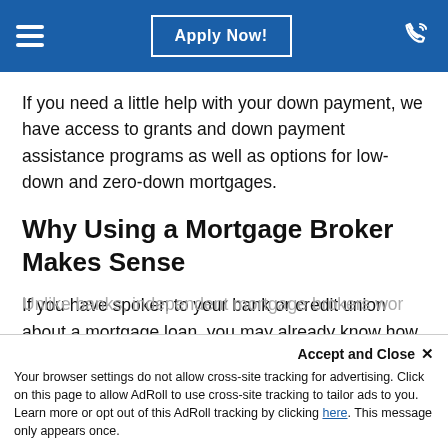Apply Now!
If you need a little help with your down payment, we have access to grants and down payment assistance programs as well as options for low-down and zero-down mortgages.
Why Using a Mortgage Broker Makes Sense
If you have spoken to your bank or credit union about a mortgage loan, you may already know how challenging it can be to find the right loan for your needs. Banks offer mortgages as a service to their customers. However, your options are severely limited and, often, the requirements for qualifying are exceptionally rigorous.
Unlike banks, independent mortgage brokers wor...Unlike the large lending facilities ability to shop around for you you...
Accept and Close ×
Your browser settings do not allow cross-site tracking for advertising. Click on this page to allow AdRoll to use cross-site tracking to tailor ads to you. Learn more or opt out of this AdRoll tracking by clicking here. This message only appears once.